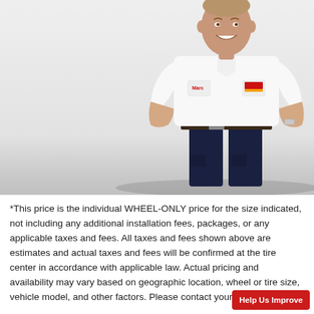[Figure (photo): A smiling male technician in a white short-sleeve work shirt with name tag and logo patch, dark navy cargo pants, and a belt, standing with hands on hips against a light gray/white background.]
*This price is the individual WHEEL-ONLY price for the size indicated, not including any additional installation fees, packages, or any applicable taxes and fees. All taxes and fees shown above are estimates and actual taxes and fees will be confirmed at the tire center in accordance with applicable law. Actual pricing and availability may vary based on geographic location, wheel or tire size, vehicle model, and other factors. Please contact your local t